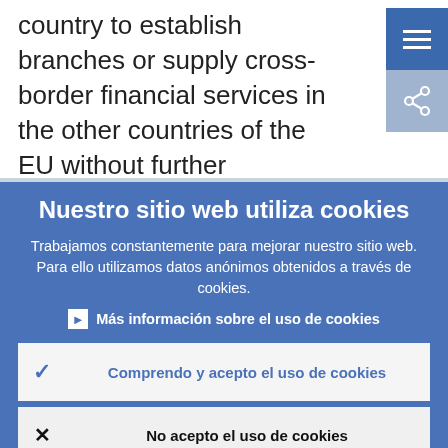country to establish branches or supply cross-border financial services in the other countries of the EU without further authorisation.
Nuestro sitio web utiliza cookies
Trabajamos constantemente para mejorar nuestro sitio web. Para ello utilizamos datos anónimos obtenidos a través de cookies.
Más información sobre el uso de cookies
Comprendo y acepto el uso de cookies
No acepto el uso de cookies